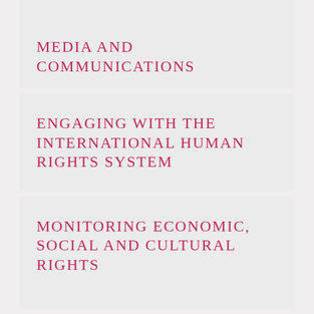MEDIA AND COMMUNICATIONS
ENGAGING WITH THE INTERNATIONAL HUMAN RIGHTS SYSTEM
MONITORING ECONOMIC, SOCIAL AND CULTURAL RIGHTS